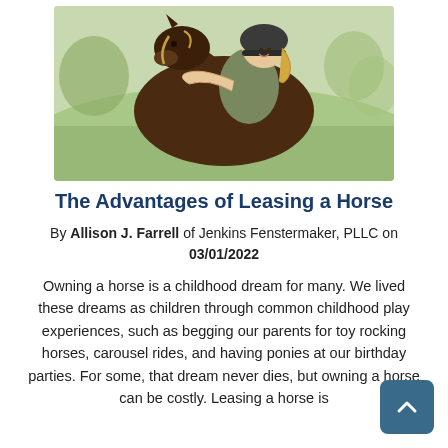[Figure (photo): A child with a helmet hugging a dark brown horse outdoors on a green field]
The Advantages of Leasing a Horse
By Allison J. Farrell of Jenkins Fenstermaker, PLLC on 03/01/2022
Owning a horse is a childhood dream for many. We lived these dreams as children through common childhood play experiences, such as begging our parents for toy rocking horses, carousel rides, and having ponies at our birthday parties. For some, that dream never dies, but owning a horse can be costly. Leasing a horse is